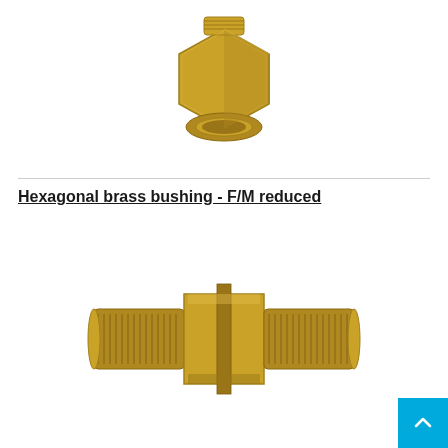[Figure (photo): Brass hexagonal bushing fitting - female/male reduced connector, golden colored, photographed on white background]
Hexagonal brass bushing - F/M reduced
[Figure (photo): Brass nipple or double male threaded fitting with central hex section, golden/bronze colored, photographed on white background]